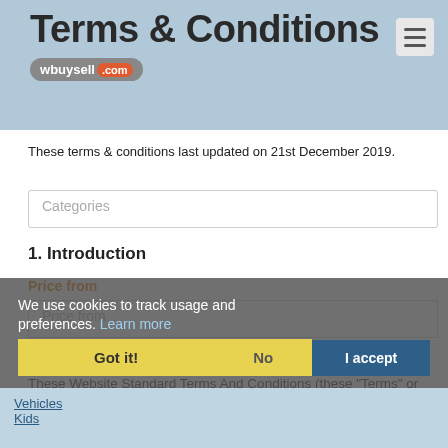Terms & Conditions
[Figure (logo): wbuysell.com logo badge in grey with orange .com text]
These terms & conditions last updated on 21st December 2019.
1. Introduction
These Website Standard Terms And Conditions (these "Terms" or these “Website Standard Terms And Conditions”) contained herein on this webpage, shall govern your use of this website, including all pages within this website (collectively referred to herein below as this “Website”). These Terms apply in full force and effect to your use of this Website and by using this Website, you expressly accept all terms and conditions contained herein in full. You must not use this Website, if you
We use cookies to track usage and preferences. Learn more
Got it!
No
I accept
Vehicles
Kids